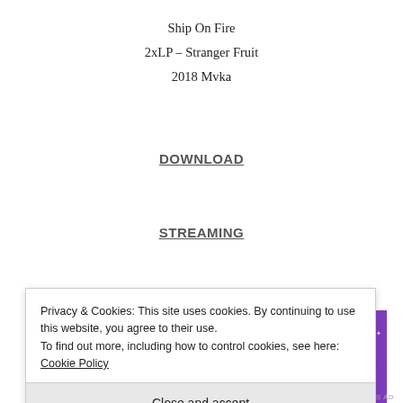Ship On Fire
2xLP – Stranger Fruit
2018 Mvka
DOWNLOAD
STREAMING
Anúncios
[Figure (illustration): Fandom banner advertisement with colorful gradient background (orange to purple) featuring a sailboat, skull, dice, and 'FANDOM' text in large letters with decorative doodles.]
Privacy & Cookies: This site uses cookies. By continuing to use this website, you agree to their use.
To find out more, including how to control cookies, see here: Cookie Policy
Close and accept